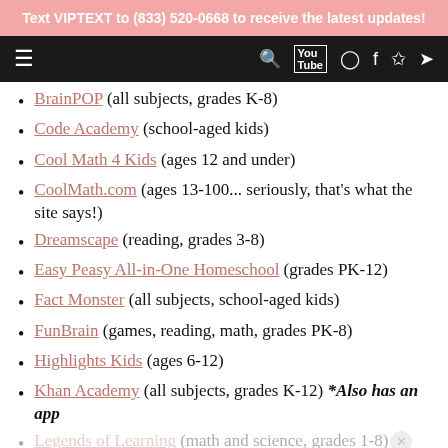Text VIPTEXT to (833) 520-0668 to receive the latest updates!
BrainPOP (all subjects, grades K-8)
Code Academy (school-aged kids)
Cool Math 4 Kids (ages 12 and under)
CoolMath.com (ages 13-100... seriously, that's what the site says!)
Dreamscape (reading, grades 3-8)
Easy Peasy All-in-One Homeschool (grades PK-12)
Fact Monster (all subjects, school-aged kids)
FunBrain (games, reading, math, grades PK-8)
Highlights Kids (ages 6-12)
Khan Academy (all subjects, grades K-12) *Also has an app
Legends of Learning (math and science, grades 1-8)
Lexia Learning (reading and literacy, grades K-12)